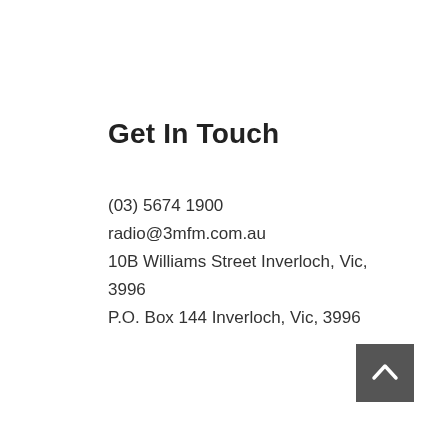Get In Touch
(03) 5674 1900
radio@3mfm.com.au
10B Williams Street Inverloch, Vic, 3996
P.O. Box 144 Inverloch, Vic, 3996
[Figure (other): Dark grey square button with a white upward-pointing chevron arrow, positioned in the bottom-right corner]